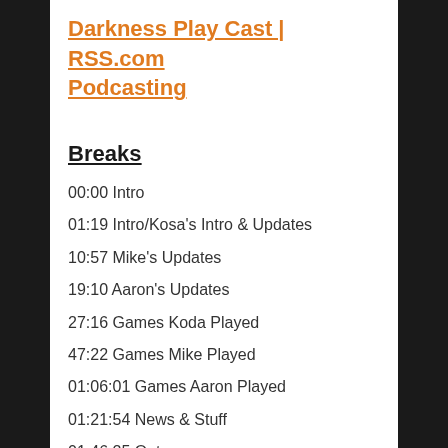Darkness Play Cast | RSS.com Podcasting
Breaks
00:00 Intro
01:19 Intro/Kosa's Intro & Updates
10:57 Mike's Updates
19:10 Aaron's Updates
27:16 Games Koda Played
47:22 Games Mike Played
01:06:01 Games Aaron Played
01:21:54 News & Stuff
01:46:25 Outro